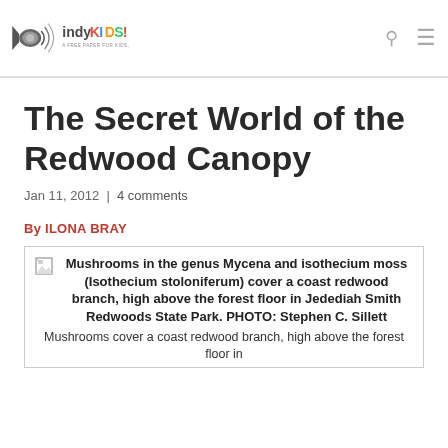indyKIDS! A free paper for kids, by kids
The Secret World of the Redwood Canopy
Jan 11, 2012 | 4 comments
By ILONA BRAY
Mushrooms in the genus Mycena and isothecium moss (Isothecium stoloniferum) cover a coast redwood branch, high above the forest floor in Jedediah Smith Redwoods State Park. PHOTO: Stephen C. Sillett
Mushrooms cover a coast redwood branch, high above the forest floor in